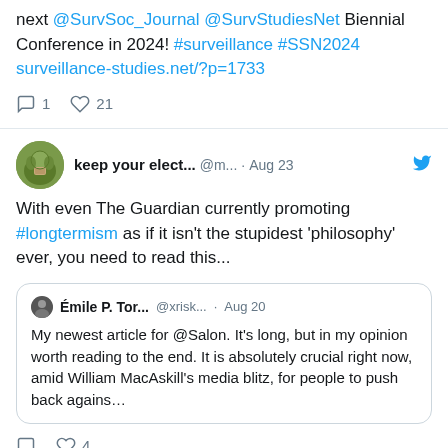next @SurvSoc_Journal @SurvStudiesNet Biennial Conference in 2024! #surveillance #SSN2024 surveillance-studies.net/?p=1733
1  21
keep your elect...  @m...  · Aug 23
With even The Guardian currently promoting #longtermism as if it isn't the stupidest 'philosophy' ever, you need to read this...
Émile P. Tor...  @xrisk...  · Aug 20
My newest article for @Salon. It's long, but in my opinion worth reading to the end. It is absolutely crucial right now, amid William MacAskill's media blitz, for people to push back agains…
4